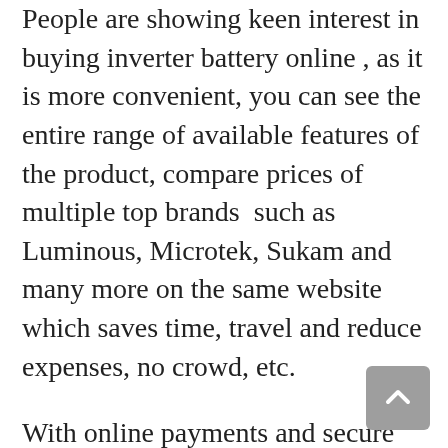People are showing keen interest in buying inverter battery online , as it is more convenient, you can see the entire range of available features of the product, compare prices of multiple top brands  such as Luminous, Microtek, Sukam and many more on the same website which saves time, travel and reduce expenses, no crowd, etc.
With online payments and secure payment gateways your cash is safe, and you have the benefit of easy returns and replacements too!
You can buy inverter battery online  without hesitation, in fact more and more people prefer buy UPS online in Bangalore as you get the advantage of UPS inverter with free installation, free demo, and technical assistance over the phone Monday to Friday during regular